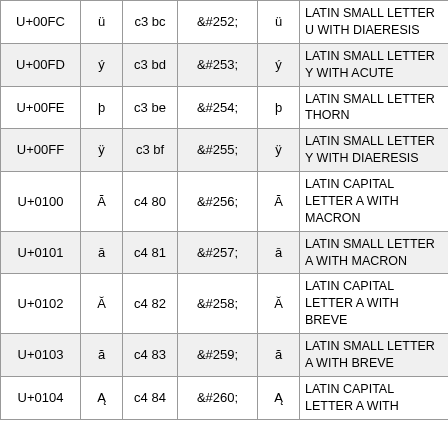| Code Point | Char | UTF-8 Hex | HTML Entity | Char | Unicode Name |
| --- | --- | --- | --- | --- | --- |
| U+00FC | ü | c3 bc | &#252; | ü | LATIN SMALL LETTER U WITH DIAERESIS |
| U+00FD | ý | c3 bd | &#253; | ý | LATIN SMALL LETTER Y WITH ACUTE |
| U+00FE | þ | c3 be | &#254; | þ | LATIN SMALL LETTER THORN |
| U+00FF | ÿ | c3 bf | &#255; | ÿ | LATIN SMALL LETTER Y WITH DIAERESIS |
| U+0100 | Ā | c4 80 | &#256; | Ā | LATIN CAPITAL LETTER A WITH MACRON |
| U+0101 | ā | c4 81 | &#257; | ā | LATIN SMALL LETTER A WITH MACRON |
| U+0102 | Ă | c4 82 | &#258; | Ă | LATIN CAPITAL LETTER A WITH BREVE |
| U+0103 | ă | c4 83 | &#259; | ă | LATIN SMALL LETTER A WITH BREVE |
| U+0104 | Ą | c4 84 | &#260; | Ą | LATIN CAPITAL LETTER A WITH... |